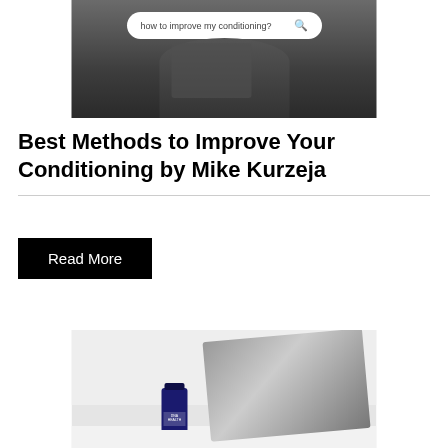[Figure (photo): Photo of a person holding a ball with a search bar overlay reading 'how to improve my conditioning?' with a search icon]
Best Methods to Improve Your Conditioning by Mike Kurzeja
Read More
[Figure (photo): Photo of a laptop and a dark blue supplement bottle labeled DNA HEALTH on a desk]